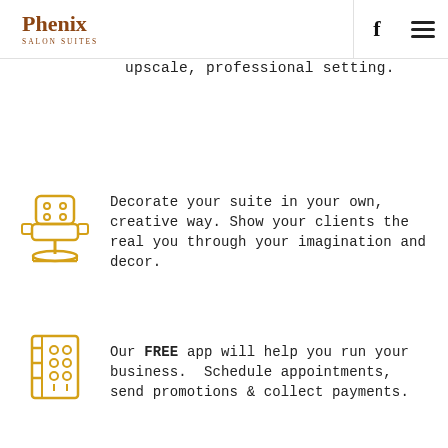Phenix Salon Suites
upscale, professional setting.
[Figure (illustration): Golden/amber outline icon of a salon barber chair]
Decorate your suite in your own, creative way. Show your clients the real you through your imagination and decor.
[Figure (illustration): Golden/amber outline icon of a salon appointment book or panel with circles/drops]
Our FREE app will help you run your business.  Schedule appointments, send promotions & collect payments.